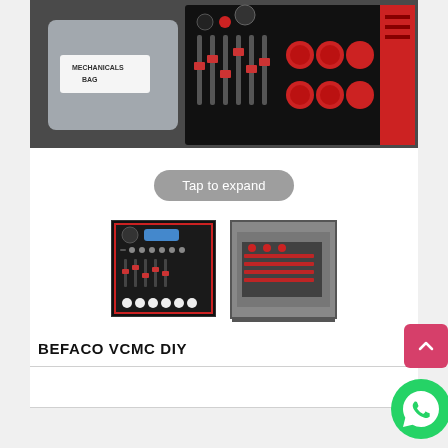[Figure (photo): Close-up photo of electronic music/audio equipment showing a black panel with red sliders, red knobs, and a label reading 'MECHANICALS BAG' on a plastic bag]
Tap to expand
[Figure (photo): Thumbnail of a black Eurorack module (Befaco VCMC) with red faders and white knobs]
[Figure (photo): Thumbnail photo of electronic circuit boards with red components]
BEFACO VCMC DIY